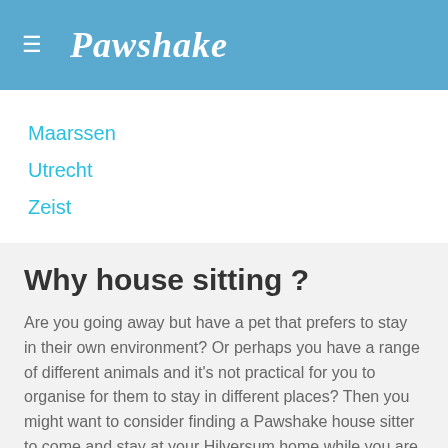≡ Pawshake
Maarssen
Utrecht
Zeist
Why house sitting ?
Are you going away but have a pet that prefers to stay in their own environment? Or perhaps you have a range of different animals and it's not practical for you to organise for them to stay in different places? Then you might want to consider finding a Pawshake house sitter to come and stay at your Hilversum home while you are away.